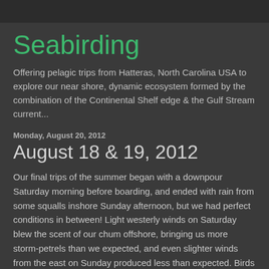Seabirding
Offering pelagic trips from Hatteras, North Carolina USA to explore our near shore, dynamic ecosystem formed by the combination of the Continental Shelf edge & the Gulf Stream current...
Monday, August 20, 2012
August 18 & 19, 2012
Our final trips of the summer began with a downpour Saturday morning before boarding, and ended with rain from some squalls inshore Sunday afternoon, but we had perfect conditions in between!  Light westerly winds on Saturday blew the scent of our chum offshore, bringing us more storm-petrels than we expected, and even slighter winds from the east on Sunday produced less than expected.  Birds were hungry on Saturday, thanks in part to the swift Gulf Stream current and recent new moon, but we were still surprised to